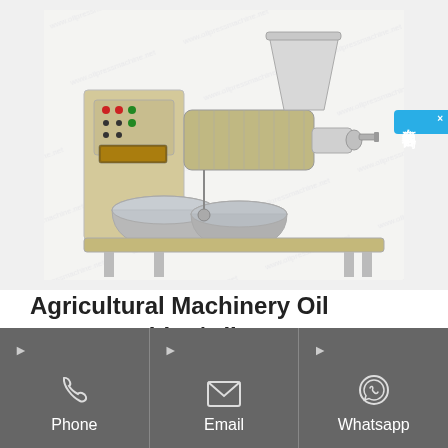[Figure (photo): Agricultural oil press machine with control panel on left and stainless steel cylindrical collection bowls in front, silver hopper on right side]
Agricultural Machinery Oil Press Machine/Oil...
Oil Press, Oil Expeller, Oil Mill manufacturer / supplier in China,
Phone
Email
Whatsapp